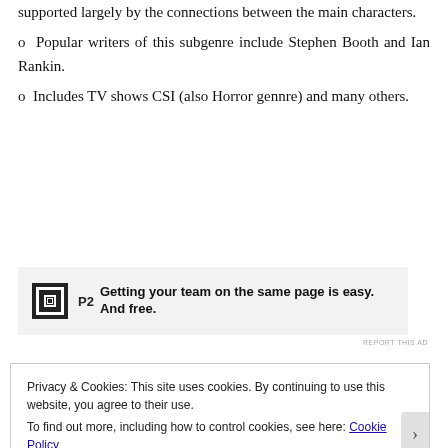supported largely by the connections between the main characters.
o Popular writers of this subgenre include Stephen Booth and Ian Rankin.
o Includes TV shows CSI (also Horror gennre) and many others.
[Figure (other): Advertisement banner for P2 with logo and text: Getting your team on the same page is easy. And free.]
REPORT THIS AD
Privacy & Cookies: This site uses cookies. By continuing to use this website, you agree to their use.
To find out more, including how to control cookies, see here: Cookie Policy
Close and accept